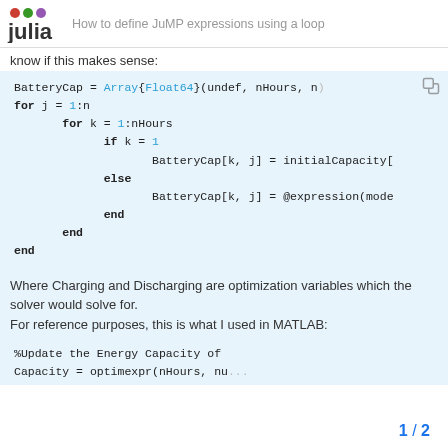How to define JuMP expressions using a loop
know if this makes sense:
[Figure (screenshot): Julia code block showing BatteryCap array initialization and nested for loops with if/else to assign initialCapacity or @expression values]
Where Charging and Discharging are optimization variables which the solver would solve for.
For reference purposes, this is what I used in MATLAB:
[Figure (screenshot): MATLAB code block starting with %Update the Energy Capacity of ... Capacity = optimexpr(nHours, nu...]
1 / 2